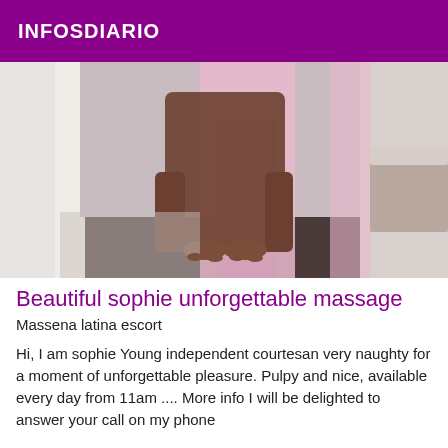INFOSDIARIO
[Figure (photo): A person standing in a room wearing a pink dress, bare feet visible on a dark floor mat, with white curtains and a bed in the background.]
Beautiful sophie unforgettable massage
Massena latina escort
Hi, I am sophie Young independent courtesan very naughty for a moment of unforgettable pleasure. Pulpy and nice, available every day from 11am .... More info I will be delighted to answer your call on my phone